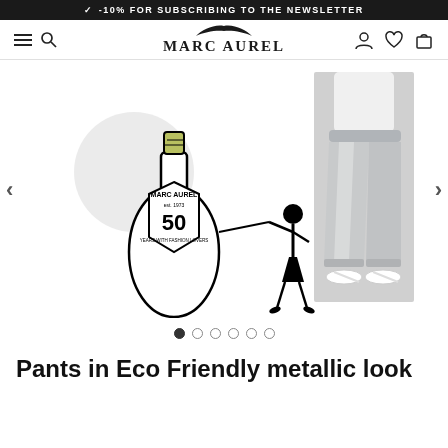✓ -10% FOR SUBSCRIBING TO THE NEWSLETTER
[Figure (logo): Marc Aurel brand logo with decorative wing/bird above the text MARC AUREL]
[Figure (photo): Product carousel showing: left side - illustrated champagne bottle with Marc Aurel est. 1973 50th anniversary branding and a stylized fashion figure; right side - photo of silver/metallic cropped pants worn by model with white sandals. Navigation arrows on sides, 6 dot indicators below (first dot active).]
Pants in Eco Friendly metallic look